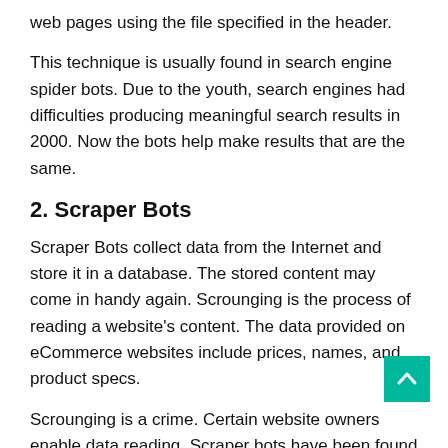web pages using the file specified in the header.
This technique is usually found in search engine spider bots. Due to the youth, search engines had difficulties producing meaningful search results in 2000. Now the bots help make results that are the same.
2. Scraper Bots
Scraper Bots collect data from the Internet and store it in a database. The stored content may come in handy again. Scrounging is the process of reading a website's content. The data provided on eCommerce websites include prices, names, and product specs.
Scrounging is a crime. Certain website owners enable data reading. Scraper bots have been found to obtain copyrighted content from websites they scrape. Your PC may have been infected by harmful software.
3. Spam Bots